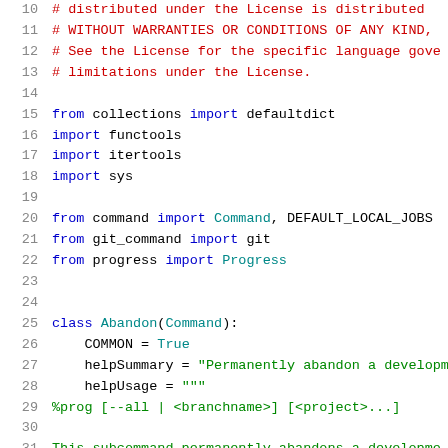Source code listing, lines 10-31, Python file
10: # distributed under the License is distributed
11: # WITHOUT WARRANTIES OR CONDITIONS OF ANY KIND,
12: # See the License for the specific language gove
13: # limitations under the License.
14: (blank)
15: from collections import defaultdict
16: import functools
17: import itertools
18: import sys
19: (blank)
20: from command import Command, DEFAULT_LOCAL_JOBS
21: from git_command import git
22: from progress import Progress
23: (blank)
24: (blank)
25: class Abandon(Command):
26:     COMMON = True
27:     helpSummary = "Permanently abandon a developme
28:     helpUsage = """
29: %prog [--all | <branchname>] [<project>...]
30: (blank)
31: This subcommand permanently abandons a developme